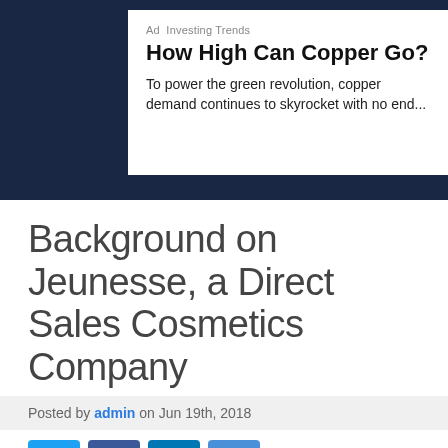[Figure (screenshot): Ad banner with dark navy background containing a white card. Card shows 'Ad  Investing Trends' label, bold headline 'How High Can Copper Go?', and description text 'To power the green revolution, copper demand continues to skyrocket with no end...']
Background on Jeunesse, a Direct Sales Cosmetics Company
Posted by admin on Jun 19th, 2018
[Figure (infographic): Social sharing buttons row: Twitter (blue bird icon), Facebook (blue f icon), LinkedIn (blue in icon), Stumbleupon (blue S icon)]
→ How High Can Copper Go? (Ad)
Jeunesse